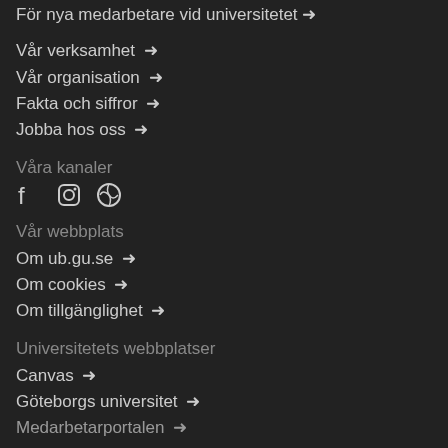För nya medarbetare vid universitetet →
Vår verksamhet →
Vår organisation →
Fakta och siffror →
Jobba hos oss →
Våra kanaler
[Figure (other): Social media icons: Facebook, Instagram, WordPress]
Vår webbplats
Om ub.gu.se →
Om cookies →
Om tillgänglighet →
Universitetets webbplatser
Canvas →
Göteborgs universitet →
Medarbetarportalen →